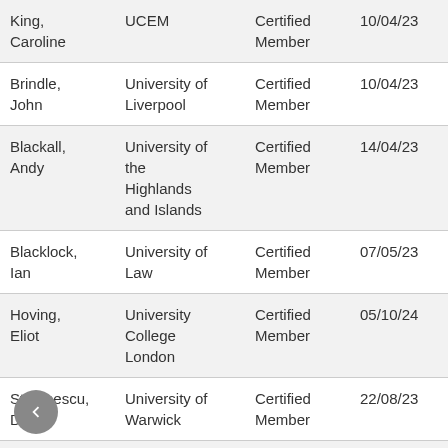| Name | Institution | Membership Type | Date | Number |  |
| --- | --- | --- | --- | --- | --- |
| King, Caroline | UCEM | Certified Member | 10/04/23 | 497 | 1 |
| Brindle, John | University of Liverpool | Certified Member | 10/04/23 | 498 | 1 |
| Blackall, Andy | University of the Highlands and Islands | Certified Member | 14/04/23 | 221449 | 0 |
| Blacklock, Ian | University of Law | Certified Member | 07/05/23 | 503 | 0 |
| Hoving, Eliot | University College London | Certified Member | 05/10/24 | 506 | 2 |
| Stefanescu, Diana | University of Warwick | Certified Member | 22/08/23 | 507 | 2 |
| McInnes, Angela | Renfrewshire Council | Certified Member | 22/08/22 | 510 | 2 |